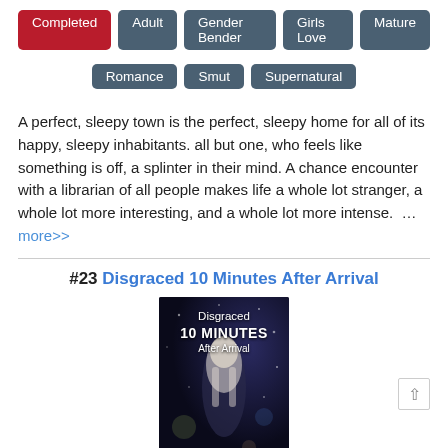Completed | Adult | Gender Bender | Girls Love | Mature | Romance | Smut | Supernatural
A perfect, sleepy town is the perfect, sleepy home for all of its happy, sleepy inhabitants. all but one, who feels like something is off, a splinter in their mind. A chance encounter with a librarian of all people makes life a whole lot stranger, a whole lot more interesting, and a whole lot more intense. … more>>
#23 Disgraced 10 Minutes After Arrival
[Figure (photo): Book cover for 'Disgraced 10 Minutes After Arrival' showing a white-haired figure in black robes against a dark starry background]
★★★★½ (4.9)
Views: 99.5k, Favorites: 1998, Chapters: 31, Chapters/Week: 0,